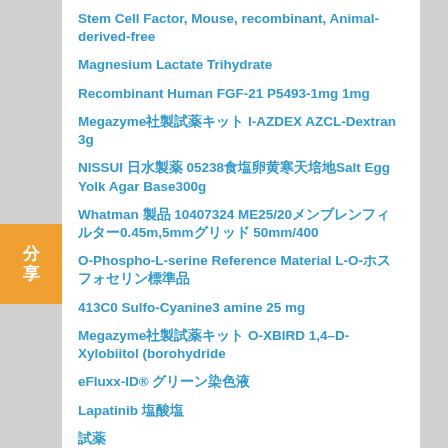Stem Cell Factor, Mouse, recombinant, Animal-derived-free
Magnesium Lactate Trihydrate
Recombinant Human FGF-21 P5493-1mg 1mg
Megazyme社製試薬キット I-AZDEX AZCL-Dextran 3g
NISSUI 日水製薬 05238食塩卵黄寒天培地Salt Egg Yolk Agar Base300g
Whatman 製品 10407324 ME25/20メンブレンフィルター0.45m,5mmグリッド 50mm/400
O-Phospho-L-serine Reference Material L-O-ホスホセリン標準品
413C0 Sulfo-Cyanine3 amine 25 mg
Megazyme社製試薬キット O-XBIRD 1,4–D-Xylobiitol (borohydride
eFluxx-ID® グリーン染色液
Lapatinib 塩酸塩
試薬